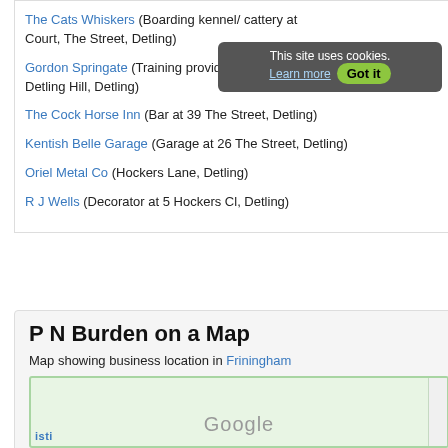The Cats Whiskers (Boarding kennel/ cattery at Court, The Street, Detling)
Gordon Springate (Training provider at Kent County Show Ground, Detling Hill, Detling)
The Cock Horse Inn (Bar at 39 The Street, Detling)
Kentish Belle Garage (Garage at 26 The Street, Detling)
Oriel Metal Co (Hockers Lane, Detling)
R J Wells (Decorator at 5 Hockers Cl, Detling)
P N Burden on a Map
Map showing business location in Friningham
[Figure (map): Google map showing business location in Friningham, partially visible with Google logo]